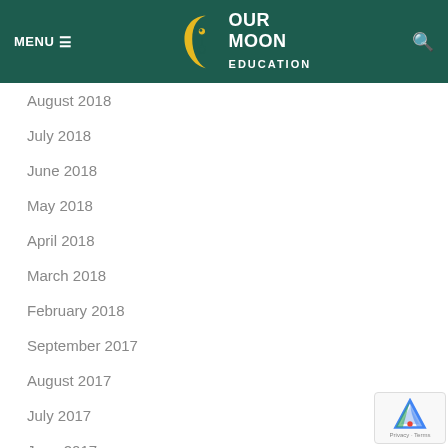MENU  OUR MOON EDUCATION
August 2018
July 2018
June 2018
May 2018
April 2018
March 2018
February 2018
September 2017
August 2017
July 2017
June 2017
May 2017